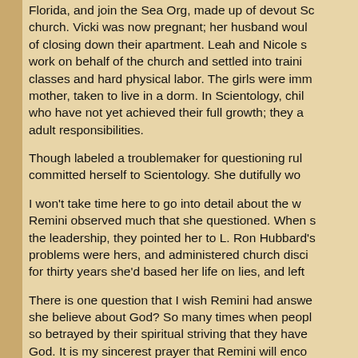Florida, and join the Sea Org, made up of devout Sc church. Vicki was now pregnant; her husband woul of closing down their apartment. Leah and Nicole s work on behalf of the church and settled into traini classes and hard physical labor. The girls were imm mother, taken to live in a dorm. In Scientology, chil who have not yet achieved their full growth; they a adult responsibilities.
Though labeled a troublemaker for questioning rul committed herself to Scientology. She dutifully wo
I won't take time here to go into detail about the w Remini observed much that she questioned. When s the leadership, they pointed her to L. Ron Hubbard's problems were hers, and administered church disci for thirty years she'd based her life on lies, and left
There is one question that I wish Remini had answe she believe about God? So many times when peopl so betrayed by their spiritual striving that they have God. It is my sincerest prayer that Remini will enco contrast to Scientology.
In my opinion, this is a very worthwhile book. Peop the damage inflicted by Scientology.